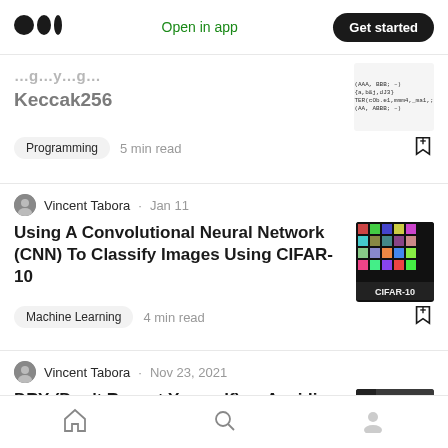Medium logo | Open in app | Get started
Keccak256
Programming · 5 min read
Vincent Tabora · Jan 11
Using A Convolutional Neural Network (CNN) To Classify Images Using CIFAR-10
Machine Learning · 4 min read
Vincent Tabora · Nov 23, 2021
DRY (Don't Repeat Yourself) — Avoiding Redundancy In Software Programming
Home | Search | Profile navigation icons